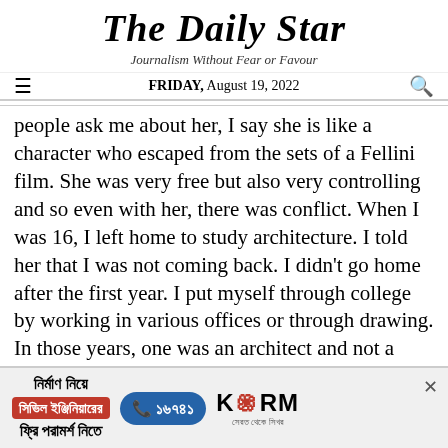The Daily Star
Journalism Without Fear or Favour
FRIDAY, August 19, 2022
people ask me about her, I say she is like a character who escaped from the sets of a Fellini film. She was very free but also very controlling and so even with her, there was conflict. When I was 16, I left home to study architecture. I told her that I was not coming back. I didn't go home after the first year. I put myself through college by working in various offices or through drawing. In those years, one was an architect and not a writer at all. In architecture school, you rarely write. But architecture is fundamental to my writing.
On that note, you have said before that with The
[Figure (infographic): Advertisement banner for KSRM civil engineering services in Bengali. Text includes: নির্মাণ নিয়ে (About construction), সিভিল ইঞ্জিনিয়ারের (Civil Engineer's), ফ্রি পরামর্শ নিতে (Free consultation), phone number ১৬৭৪১, KSRM logo with tagline.]